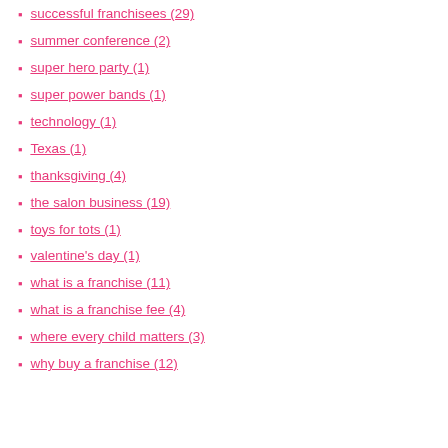successful franchisees (29)
summer conference (2)
super hero party (1)
super power bands (1)
technology (1)
Texas (1)
thanksgiving (4)
the salon business (19)
toys for tots (1)
valentine's day (1)
what is a franchise (11)
what is a franchise fee (4)
where every child matters (3)
why buy a franchise (12)